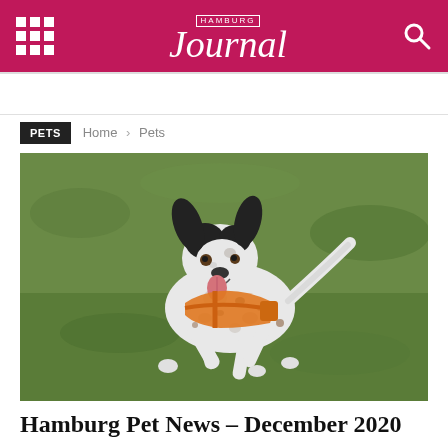HAMBURG Journal
PETS
Home › Pets
[Figure (photo): A black and white spotted dog running on grass, wearing an orange harness, mouth open with tongue out, ears flying up.]
Hamburg Pet News – December 2020